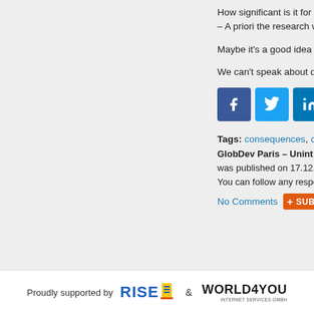How significant is it for th– A priori the research w
Maybe it's a good idea t
We can't speak about di
[Figure (other): Social share buttons: Facebook, Twitter, LinkedIn, and one more]
Tags: consequences, cy
GlobDev Paris – Unint was published on 17.12.
You can follow any respe
No Comments  SUBSCRI
Proudly supported by RISE & WORLD4YOU INTERNET SERVICES GMBH